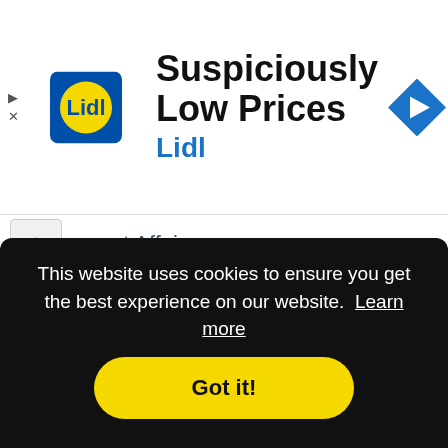[Figure (logo): Lidl grocery store advertisement banner with Lidl logo, headline 'Suspiciously Low Prices', subtext 'Lidl', and a blue navigation arrow icon]
Current Affairs
Current Affairs Question Answer
Different Branches of Science
Famous Books and Authors
This website uses cookies to ensure you get the best experience on our website. Learn more
Got it!